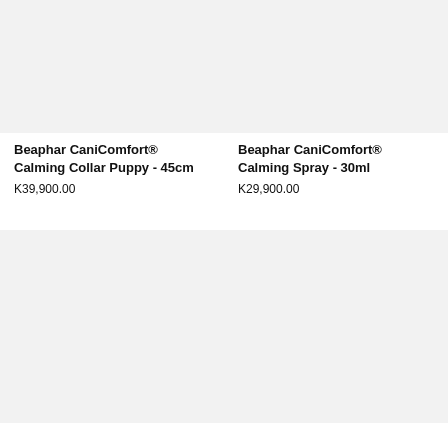[Figure (photo): Product image placeholder - Beaphar CaniComfort Calming Collar Puppy 45cm (top left)]
Beaphar CaniComfort® Calming Collar Puppy - 45cm
K39,900.00
[Figure (photo): Product image placeholder - Beaphar CaniComfort Calming Spray 30ml (top right)]
Beaphar CaniComfort® Calming Spray - 30ml
K29,900.00
[Figure (photo): Product image placeholder - bottom left product]
[Figure (photo): Product image placeholder - bottom right product]